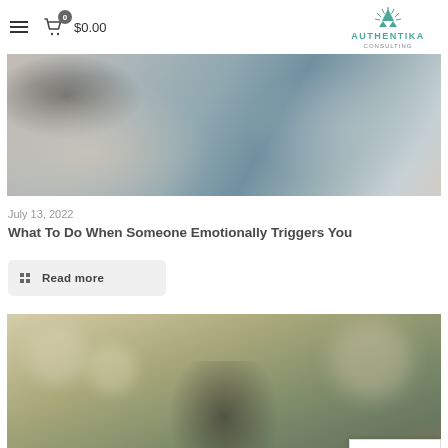≡ 0 $0.00 AUTHENTIKA CONSULTING
[Figure (photo): Business meeting photo showing a woman in a light blazer holding a coffee cup, seated across from another person at a table near a window]
July 13, 2022
What To Do When Someone Emotionally Triggers You
Read more
[Figure (photo): Outdoor bokeh photo showing a person wearing glasses, partially visible, with blurred foliage background in warm tones]